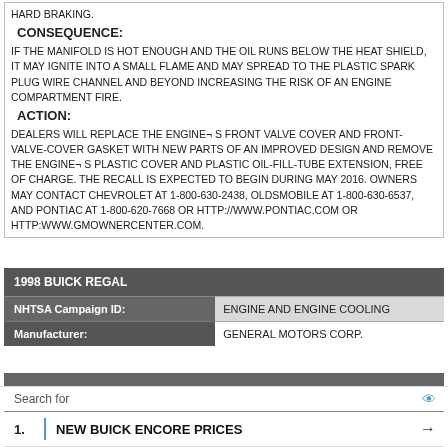HARD BRAKING.
Consequence:
IF THE MANIFOLD IS HOT ENOUGH AND THE OIL RUNS BELOW THE HEAT SHIELD, IT MAY IGNITE INTO A SMALL FLAME AND MAY SPREAD TO THE PLASTIC SPARK PLUG WIRE CHANNEL AND BEYOND INCREASING THE RISK OF AN ENGINE COMPARTMENT FIRE.
Action:
DEALERS WILL REPLACE THE ENGINE¬S FRONT VALVE COVER AND FRONT-VALVE-COVER GASKET WITH NEW PARTS OF AN IMPROVED DESIGN AND REMOVE THE ENGINE¬S PLASTIC COVER AND PLASTIC OIL-FILL-TUBE EXTENSION, FREE OF CHARGE. THE RECALL IS EXPECTED TO BEGIN DURING MAY 2016. OWNERS MAY CONTACT CHEVROLET AT 1-800-630-2438, OLDSMOBILE AT 1-800-630-6537, AND PONTIAC AT 1-800-620-7668 OR HTTP://WWW.PONTIAC.COM OR HTTP:WWW.GMOWNERCENTER.COM.
| 1998 BUICK REGAL |  |
| --- | --- |
| NHTSA Campaign ID: | ENGINE AND ENGINE COOLING |
| Manufacturer: | GENERAL MOTORS CORP. |
| ... | ... |
Search for
1. NEW BUICK ENCORE PRICES
2. 10 BEST CARS TO BUY
Ad | Auto Culture